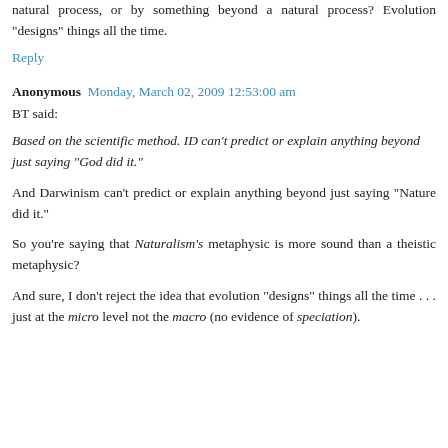natural process, or by something beyond a natural process? Evolution "designs" things all the time.
Reply
Anonymous  Monday, March 02, 2009 12:53:00 am
BT said:
Based on the scientific method. ID can't predict or explain anything beyond just saying "God did it."
And Darwinism can't predict or explain anything beyond just saying "Nature did it."
So you're saying that Naturalism's metaphysic is more sound than a theistic metaphysic?
And sure, I don't reject the idea that evolution "designs" things all the time . . . just at the micro level not the macro (no evidence of speciation).